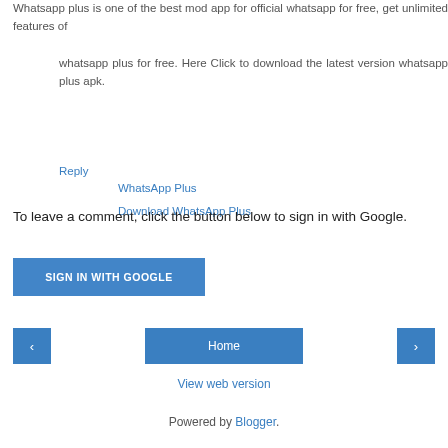Whatsapp plus is one of the best mod app for official whatsapp for free, get unlimited features of
whatsapp plus for free. Here Click to download the latest version whatsapp plus apk.
WhatsApp Plus
Download WhatsApp Plus
Reply
To leave a comment, click the button below to sign in with Google.
SIGN IN WITH GOOGLE
Home
View web version
Powered by Blogger.